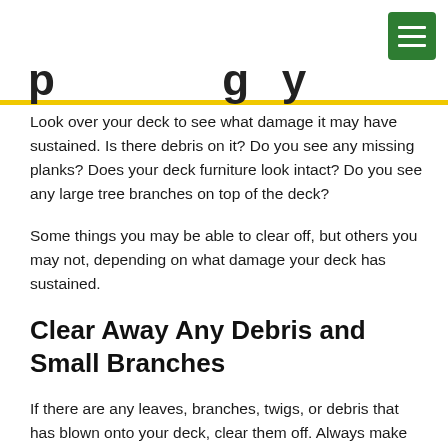...p...g...y...
Look over your deck to see what damage it may have sustained. Is there debris on it? Do you see any missing planks? Does your deck furniture look intact? Do you see any large tree branches on top of the deck?
Some things you may be able to clear off, but others you may not, depending on what damage your deck has sustained.
Clear Away Any Debris and Small Branches
If there are any leaves, branches, twigs, or debris that has blown onto your deck, clear them off. Always make sure it's